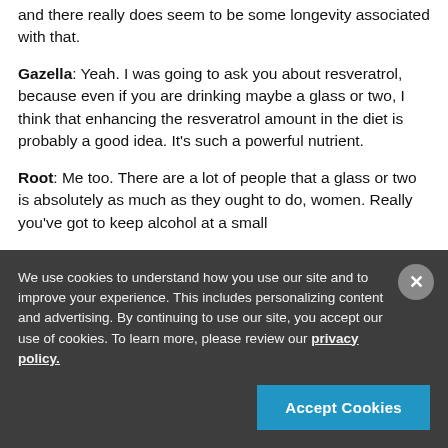and there really does seem to be some longevity associated with that.
Gazella: Yeah. I was going to ask you about resveratrol, because even if you are drinking maybe a glass or two, I think that enhancing the resveratrol amount in the diet is probably a good idea. It's such a powerful nutrient.
Root: Me too. There are a lot of people that a glass or two is absolutely as much as they ought to do, women. Really you've got to keep alcohol at a small
We use cookies to understand how you use our site and to improve your experience. This includes personalizing content and advertising. By continuing to use our site, you accept our use of cookies. To learn more, please review our privacy policy.
Accept Cookies